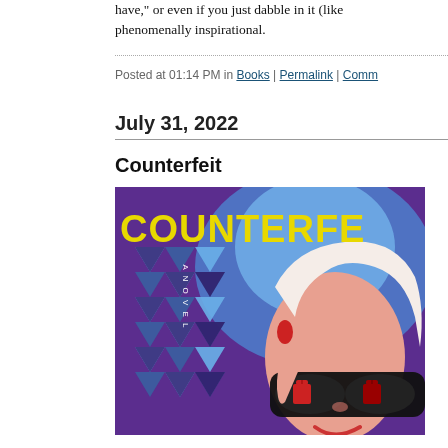have," or even if you just dabble in it (like phenomenally inspirational.
Posted at 01:14 PM in Books | Permalink | Comm...
July 31, 2022
Counterfeit
[Figure (photo): Book cover of 'Counterfeit: A Novel' featuring stylized illustration of a woman with sunglasses reflecting red Hermès bags, geometric blue and purple triangles in the background, with bold yellow title text 'COUNTERFE...' across the top.]